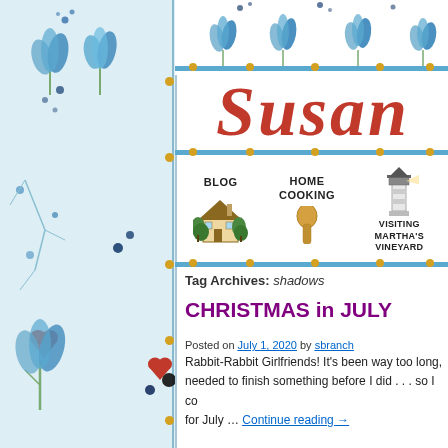[Figure (illustration): Decorative left border with blue floral/botanical watercolor illustrations including tulips, leaves, and red heart accents on a light blue background]
[Figure (illustration): Blog header banner with tulip decorations at top and decorative blue horizontal lines with gold dot accents]
Susan
[Figure (illustration): Navigation menu with three items: BLOG (house icon), HOME COOKING (wooden spoon icon), VISITING MARTHA'S VINEYARD (lighthouse icon)]
Tag Archives: shadows
CHRISTMAS in JULY
Posted on July 1, 2020 by sbranch
Rabbit-Rabbit Girlfriends! It's been way too long, needed to finish something before I did . . . so I co for July … Continue reading →